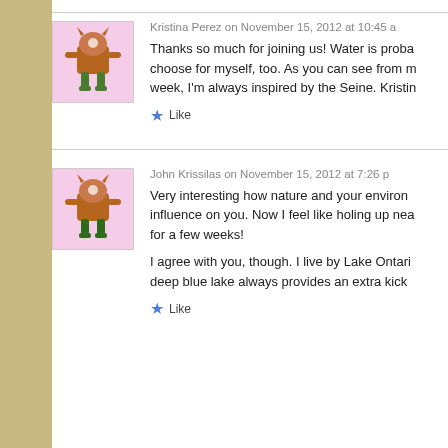Kristina Perez on November 15, 2012 at 10:45 a
Thanks so much for joining us! Water is proba choose for myself, too. As you can see from m week, I'm always inspired by the Seine. Kristin
Like
John Krissilas on November 15, 2012 at 7:26 p
Very interesting how nature and your environ influence on you. Now I feel like holing up nea for a few weeks!

I agree with you, though. I live by Lake Ontari deep blue lake always provides an extra kick
Like